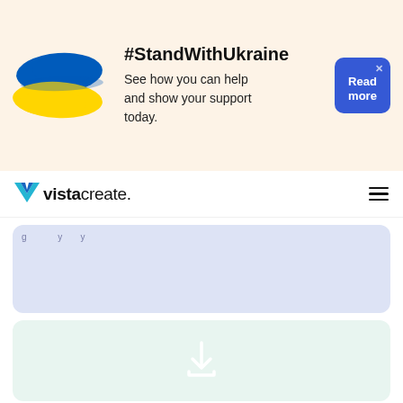[Figure (infographic): Ukraine flag banner with #StandWithUkraine message and Read more button]
[Figure (logo): VistaCreate logo with teal/blue chevron V icon]
[Figure (screenshot): Light blue content placeholder area with partial text visible]
[Figure (screenshot): Light green area with white download icon]